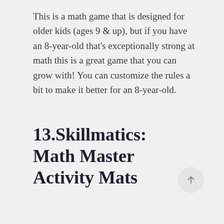This is a math game that is designed for older kids (ages 9 & up), but if you have an 8-year-old that's exceptionally strong at math this is a great game that you can grow with! You can customize the rules a bit to make it better for an 8-year-old.
13.Skillmatics: Math Master Activity Mats